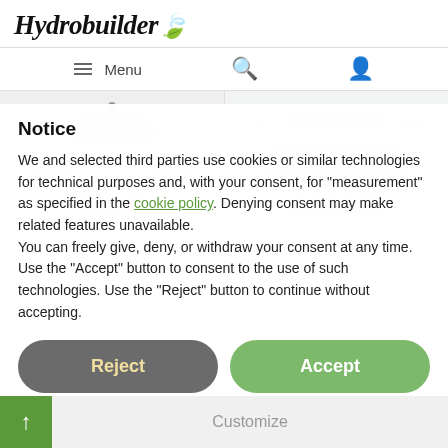Hydrobuilder
Menu
[Figure (photo): Two grow light product images: a double-ended grow light on the left and a single-ended MH/HPS grow light on the right, displayed against a light gray background]
Notice
We and selected third parties use cookies or similar technologies for technical purposes and, with your consent, for "measurement" as specified in the cookie policy. Denying consent may make related features unavailable.
You can freely give, deny, or withdraw your consent at any time. Use the "Accept" button to consent to the use of such technologies. Use the "Reject" button to continue without accepting.
Reject
Accept
Customize